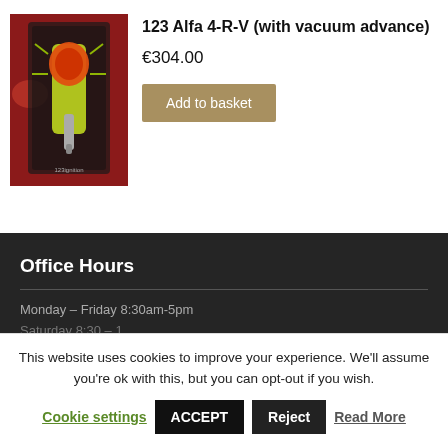[Figure (photo): Product photo of a car ignition distributor component in retail packaging, shown against a red car background]
123 Alfa 4-R-V (with vacuum advance)
€304.00
Add to basket
Office Hours
Monday – Friday 8:30am-5pm
This website uses cookies to improve your experience. We'll assume you're ok with this, but you can opt-out if you wish.
Cookie settings  ACCEPT  Reject  Read More